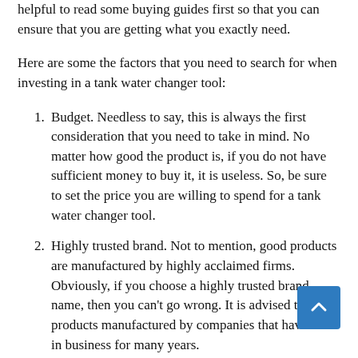helpful to read some buying guides first so that you can ensure that you are getting what you exactly need.
Here are some the factors that you need to search for when investing in a tank water changer tool:
Budget. Needless to say, this is always the first consideration that you need to take in mind. No matter how good the product is, if you do not have sufficient money to buy it, it is useless. So, be sure to set the price you are willing to spend for a tank water changer tool.
Highly trusted brand. Not to mention, good products are manufactured by highly acclaimed firms. Obviously, if you choose a highly trusted brand name, then you can't go wrong. It is advised to get products manufactured by companies that have been in business for many years.